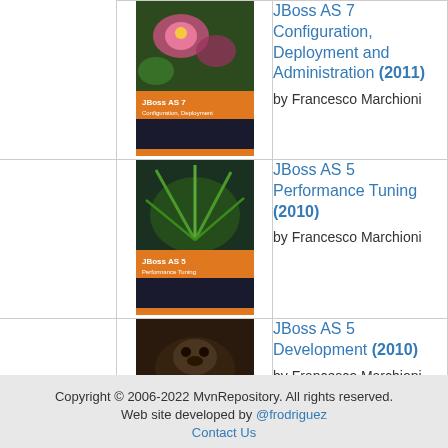[Figure (other): Book cover for JBoss AS 7 Configuration, Deployment and Administration (2011)]
JBoss AS 7 Configuration, Deployment and Administration (2011) by Francesco Marchioni
[Figure (other): Book cover for JBoss AS 5 Performance Tuning (2010)]
JBoss AS 5 Performance Tuning (2010) by Francesco Marchioni
[Figure (other): Book cover for JBoss AS 5 Development (2010)]
JBoss AS 5 Development (2010) by Francesco Marchioni
Copyright © 2006-2022 MvnRepository. All rights reserved. Web site developed by @frodriguez Contact Us